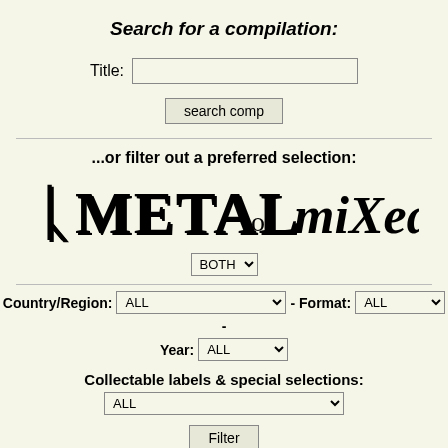Search for a compilation:
Title:
search comp
...or filter out a preferred selection:
[Figure (other): Decorative metal/gothic font text reading 'METAL or miXed?']
BOTH (dropdown)
Country/Region: ALL - Format: ALL - Year: ALL
Collectable labels & special selections:
ALL (dropdown)
Filter